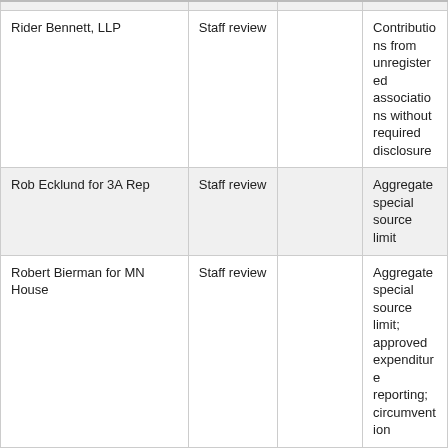| Rider Bennett, LLP | Staff review |  | Contributions from unregistered associations without required disclosure |
| Rob Ecklund for 3A Rep | Staff review |  | Aggregate special source limit |
| Robert Bierman for MN House | Staff review |  | Aggregate special source limit; approved expenditure reporting; circumvention |
| Robert Hentges | Complaint | Minnesotans for Responsible Gaming | Lobbyist disbursement reports; failure to timely provide information to lobbyist |